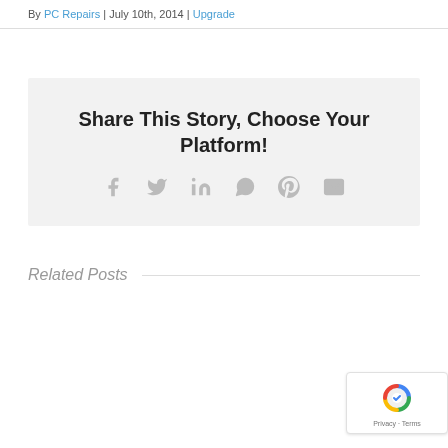By PC Repairs | July 10th, 2014 | Upgrade
Share This Story, Choose Your Platform!
[Figure (infographic): Social sharing icons: Facebook, Twitter, LinkedIn, WhatsApp, Pinterest, Email]
Related Posts
[Figure (other): reCAPTCHA badge with logo and Privacy - Terms text]